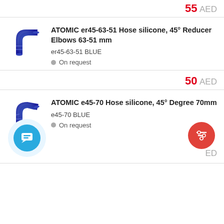55 AED
[Figure (photo): Blue silicone 45-degree reducer elbow hose, 63-51mm]
ATOMIC er45-63-51 Hose silicone, 45° Reducer Elbows 63-51 mm
er45-63-51 BLUE
On request
50 AED
[Figure (photo): Blue silicone 45-degree elbow hose, 70mm]
ATOMIC e45-70 Hose silicone, 45° Degree 70mm
e45-70 BLUE
On request